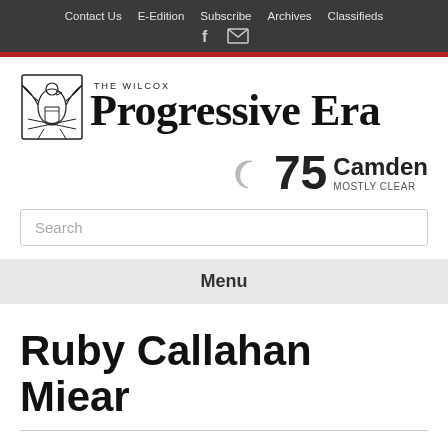Contact Us  E-Edition  Subscribe  Archives  Classifieds
[Figure (logo): The Wilcox Progressive Era newspaper logo with eagle emblem]
[Figure (infographic): Weather widget: crescent moon icon, 75 degrees, Camden, MOSTLY CLEAR]
Search
Menu
Ruby Callahan Miear